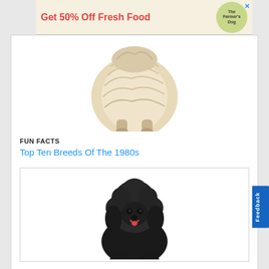[Figure (photo): Advertisement banner: 'Get 50% Off Fresh Food' with The Farmer's Dog logo circle]
[Figure (photo): Rear view of a fluffy light-colored dog (Shih Tzu or similar breed) showing its back end and flowing coat on white background]
FUN FACTS
Top Ten Breeds Of The 1980s
[Figure (photo): Black Standard Poodle dog sitting, facing camera, on white background]
Feedback